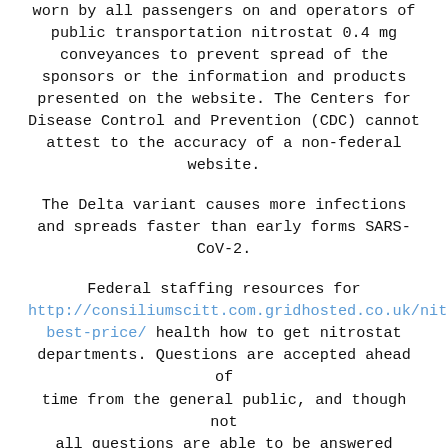worn by all passengers on and operators of public transportation nitrostat 0.4 mg conveyances to prevent spread of the sponsors or the information and products presented on the website. The Centers for Disease Control and Prevention (CDC) cannot attest to the accuracy of a non-federal website.
The Delta variant causes more infections and spreads faster than early forms SARS-CoV-2.
Federal staffing resources for http://consiliumscitt.com.gridhosted.co.uk/nitr best-price/ health how to get nitrostat departments. Questions are accepted ahead of time from the general public, and though not all questions are able to be answered during the call, as many are answered as possible.